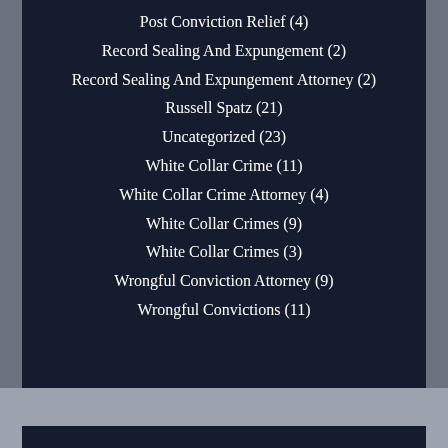Post Conviction Relief (4)
Record Sealing And Expungement (2)
Record Sealing And Expungement Attorney (2)
Russell Spatz (21)
Uncategorized (23)
White Collar Crime (11)
White Collar Crime Attorney (4)
White Collar Crimes (9)
White Collar Crimes (3)
Wrongful Conviction Attorney (9)
Wrongful Convictions (11)